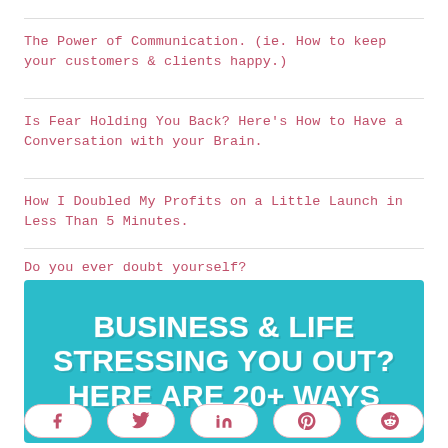The Power of Communication. (ie. How to keep your customers & clients happy.)
Is Fear Holding You Back? Here's How to Have a Conversation with your Brain.
How I Doubled My Profits on a Little Launch in Less Than 5 Minutes.
Do you ever doubt yourself?
[Figure (infographic): Teal banner with bold white text reading BUSINESS & LIFE STRESSING YOU OUT? HERE ARE 20+ WAYS]
[Figure (other): Social sharing buttons: Facebook, Twitter, LinkedIn, Pinterest, Reddit]